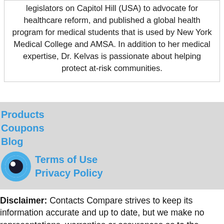legislators on Capitol Hill (USA) to advocate for healthcare reform, and published a global health program for medical students that is used by New York Medical College and AMSA. In addition to her medical expertise, Dr. Kelvas is passionate about helping protect at-risk communities.
Products
Coupons
Blog
[Figure (logo): Eye icon logo - dark circle with white pupil on blue iris background]
Terms of Use
Privacy Policy
Disclaimer: Contacts Compare strives to keep its information accurate and up to date, but we make no representations, warranties or assurances as to the accuracy or completeness of such information.